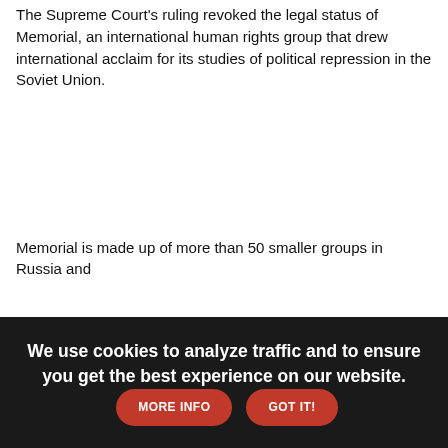The Supreme Court's ruling revoked the legal status of Memorial, an international human rights group that drew international acclaim for its studies of political repression in the Soviet Union.
Memorial is made up of more than 50 smaller groups in Russia and
We use cookies to analyze traffic and to ensure you get the best experience on our website.
MORE INFO
GOT IT!